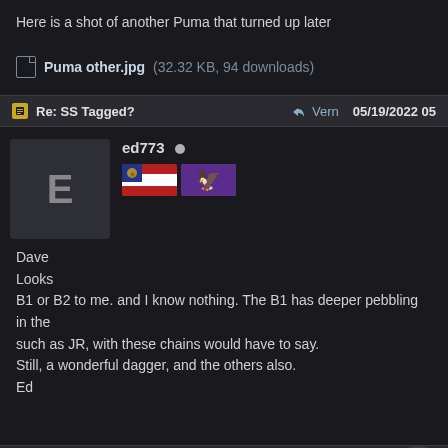Here is a shot of another Puma that turned up later
Puma other.jpg (32.32 KB, 94 downloads)
Re: SS Tagged?  → Vern  05/19/2022 05
ed773
Dave
Looks
B1 or B2 to me. and I know nothing. The B1 has deeper pebbling in the such as JR, with these chains would have to say.
Still, a wonderful dagger, and the others also.
Ed
Re: SS Tagged?  → Herman V. (aka Herr Mann)  05/30/2022 01
The Black Baron